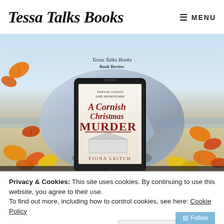Tessa Talks Books
MENU
[Figure (illustration): Book review promotional image showing an e-reader tablet displaying the cover of 'A Cornish Christmas Murder' by Fiona Leitch. The cover shows text: TWELVE GUESTS ONE SNOWSTORM, A Cornish Christmas MURDER, FIONA LEITCH. The tablet sits on a large shell on a beach, surrounded by autumn leaves in orange and red. The image is branded 'Tessa Talks Books Book Review'.]
Privacy & Cookies: This site uses cookies. By continuing to use this website, you agree to their use.
To find out more, including how to control cookies, see here: Cookie Policy
Close and accept